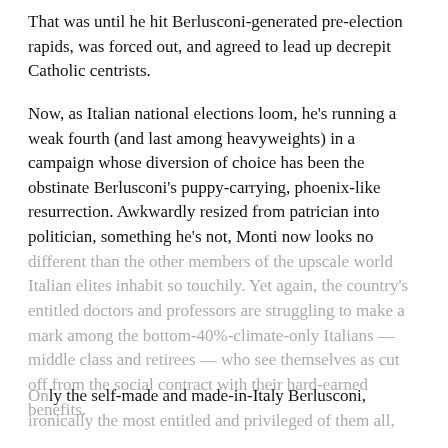That was until he hit Berlusconi-generated pre-election rapids, was forced out, and agreed to lead up decrepit Catholic centrists.
Now, as Italian national elections loom, he's running a weak fourth (and last among heavyweights) in a campaign whose diversion of choice has been the obstinate Berlusconi's puppy-carrying, phoenix-like resurrection. Awkwardly resized from patrician into politician, something he's not, Monti now looks no different than the other members of the upscale world Italian elites inhabit so touchily. Yet again, the country's entitled doctors and professors are struggling to make a mark among the bottom-40%-climate-only Italians — middle class and retirees — who see themselves as cut off from the social contract with their hard-earned benefits.
Only the self-made and made-in-Italy Berlusconi, ironically the most entitled and privileged of them all,
[Figure (screenshot): Share This overlay dialog with title 'Share This', subtitle 'Share this post with your friends!', Facebook button, Twitter button, and Print Friendly button. Close (x) button in top right corner.]